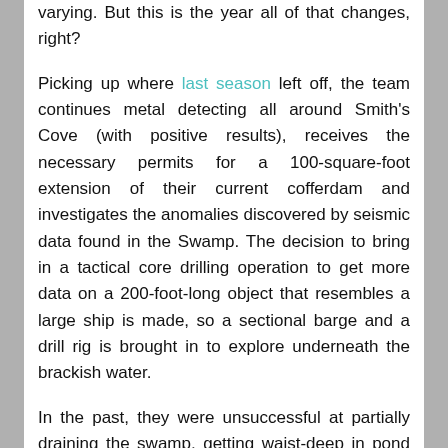varying. But this is the year all of that changes, right?
Picking up where last season left off, the team continues metal detecting all around Smith's Cove (with positive results), receives the necessary permits for a 100-square-foot extension of their current cofferdam and investigates the anomalies discovered by seismic data found in the Swamp. The decision to bring in a tactical core drilling operation to get more data on a 200-foot-long object that resembles a large ship is made, so a sectional barge and a drill rig is brought in to explore underneath the brackish water.
In the past, they were unsuccessful at partially draining the swamp, getting waist-deep in pond scum, while locating a few intriguing finds. So, why doesn't the team decide to drain the swamp before